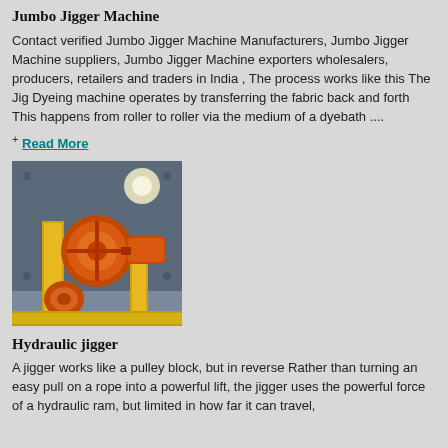Jumbo Jigger Machine
Contact verified Jumbo Jigger Machine Manufacturers, Jumbo Jigger Machine suppliers, Jumbo Jigger Machine exporters wholesalers, producers, retailers and traders in India , The process works like this The Jig Dyeing machine operates by transferring the fabric back and forth This happens from roller to roller via the medium of a dyebath ....
+ Read More
[Figure (photo): Photograph of a hydraulic jigger machine with orange mechanical components and rollers mounted on a yellow frame]
Hydraulic jigger
A jigger works like a pulley block, but in reverse Rather than turning an easy pull on a rope into a powerful lift, the jigger uses the powerful force of a hydraulic ram, but limited in how far it can travel,